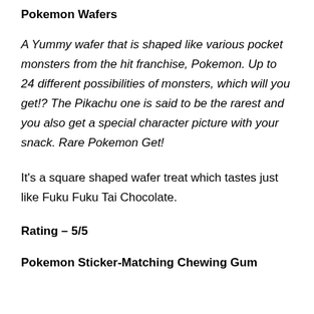Pokemon Wafers
A Yummy wafer that is shaped like various pocket monsters from the hit franchise, Pokemon. Up to 24 different possibilities of monsters, which will you get!? The Pikachu one is said to be the rarest and you also get a special character picture with your snack. Rare Pokemon Get!
It’s a square shaped wafer treat which tastes just like Fuku Fuku Tai Chocolate.
Rating – 5/5
Pokemon Sticker-Matching Chewing Gum